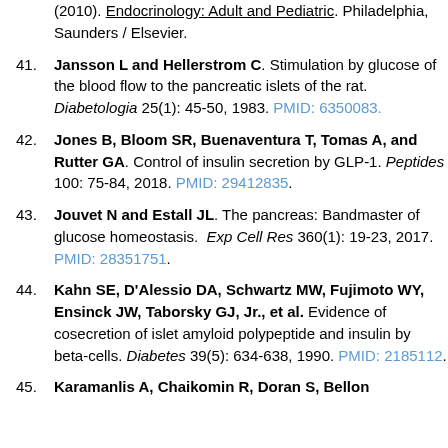(2010). Endocrinology: Adult and Pediatric. Philadelphia, Saunders / Elsevier.
41. Jansson L and Hellerstrom C. Stimulation by glucose of the blood flow to the pancreatic islets of the rat. Diabetologia 25(1): 45-50, 1983. PMID: 6350083.
42. Jones B, Bloom SR, Buenaventura T, Tomas A, and Rutter GA. Control of insulin secretion by GLP-1. Peptides 100: 75-84, 2018. PMID: 29412835.
43. Jouvet N and Estall JL. The pancreas: Bandmaster of glucose homeostasis. Exp Cell Res 360(1): 19-23, 2017. PMID: 28351751.
44. Kahn SE, D'Alessio DA, Schwartz MW, Fujimoto WY, Ensinck JW, Taborsky GJ, Jr., et al. Evidence of cosecretion of islet amyloid polypeptide and insulin by beta-cells. Diabetes 39(5): 634-638, 1990. PMID: 2185112.
45. Karamanlis A, Chaikomin R, Doran S, Bellon